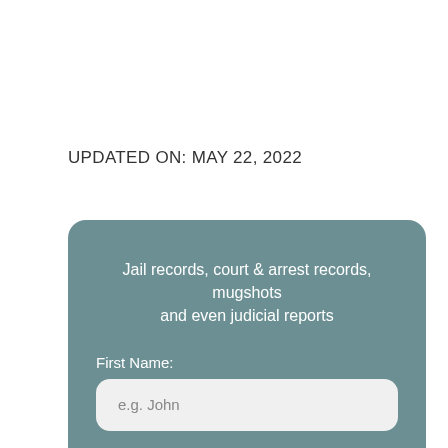UPDATED ON: MAY 22, 2022
[Figure (other): A teal/grey rounded card widget for searching jail records, court & arrest records, mugshots and judicial reports, containing a First Name field with placeholder 'e.g. John' and a Last Name label.]
Jail records, court & arrest records, mugshots and even judicial reports
First Name:
e.g. John
Last Name: